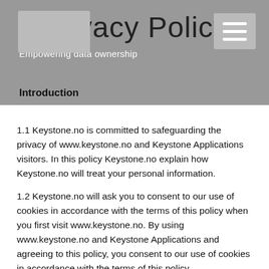Privacy Policy
Empowering data ownership
Introduction
1.1 Keystone.no is committed to safeguarding the privacy of www.keystone.no and Keystone Applications visitors. In this policy Keystone.no explain how Keystone.no will treat your personal information.
1.2 Keystone.no will ask you to consent to our use of cookies in accordance with the terms of this policy when you first visit www.keystone.no. By using www.keystone.no and Keystone Applications and agreeing to this policy, you consent to our use of cookies in accordance with the terms of this policy.
Collecting personal information